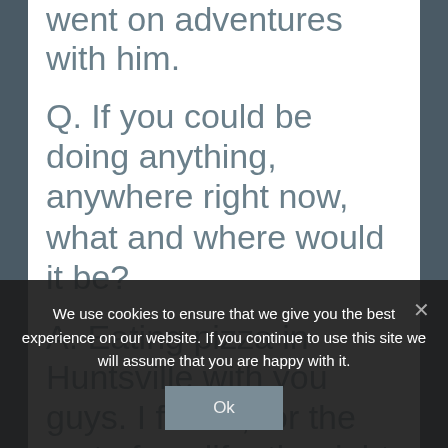went on adventures with him.
Q. If you could be doing anything, anywhere right now, what and where would it be?
A. Eating pizza in Huntsville with you guys. I forfeit, for the rest of my life, the right to complain.
Q. If you had a superpower,
We use cookies to ensure that we give you the best experience on our website. If you continue to use this site we will assume that you are happy with it.